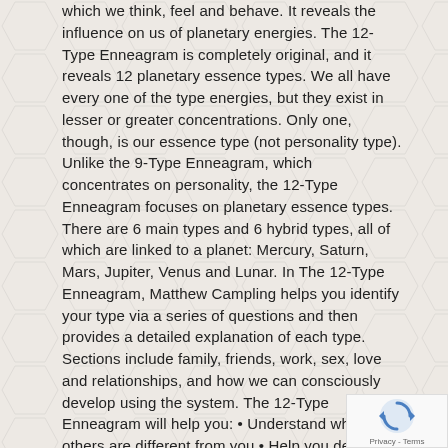which we think, feel and behave. It reveals the influence on us of planetary energies. The 12-Type Enneagram is completely original, and it reveals 12 planetary essence types. We all have every one of the type energies, but they exist in lesser or greater concentrations. Only one, though, is our essence type (not personality type). Unlike the 9-Type Enneagram, which concentrates on personality, the 12-Type Enneagram focuses on planetary essence types. There are 6 main types and 6 hybrid types, all of which are linked to a planet: Mercury, Saturn, Mars, Jupiter, Venus and Lunar. In The 12-Type Enneagram, Matthew Campling helps you identify your type via a series of questions and then provides a detailed explanation of each type. Sections include family, friends, work, sex, love and relationships, and how we can consciously develop using the system. The 12-Type Enneagram will help you: • Understand why others are different from you • Help you deal with problems • Show you what to work on to improve your life • Help resolve inner and outer conflict and more Up till now this knowledge has been lost, or limited to esoteric schools of knowledge. Now it is available to
[Figure (other): reCAPTCHA badge with blue circular arrow icon and 'Privacy - Terms' text]